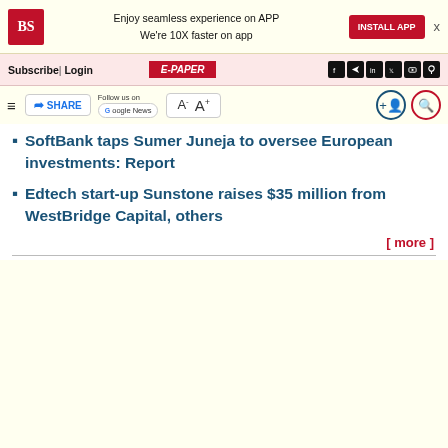BS | Enjoy seamless experience on APP We're 10X faster on app | INSTALL APP
Subscribe | Login | E-PAPER
SHARE | Follow us on Google News | A- A+
SoftBank taps Sumer Juneja to oversee European investments: Report
Edtech start-up Sunstone raises $35 million from WestBridge Capital, others
[ more ]